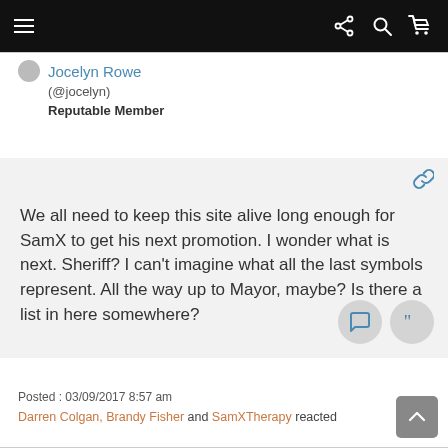Navigation bar with hamburger menu, share, search, and cart icons
Jocelyn Rowe (@jocelyn) Reputable Member
We all need to keep this site alive long enough for SamX to get his next promotion.  I wonder what is next. Sheriff? I can't imagine what all the last symbols represent. All the way up to Mayor,  maybe? Is there a list in here somewhere?
Posted : 03/09/2017 8:57 am
Darren Colgan, Brandy Fisher and SamXTherapy reacted